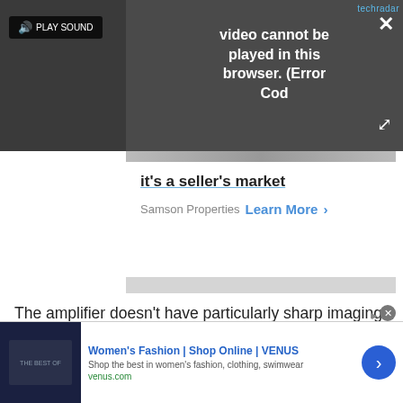[Figure (screenshot): Video player showing error message 'Video cannot be played in this browser. (Error Cod' with PLAY SOUND button, techradar badge, close button, and expand button on dark background]
[Figure (screenshot): Advertisement card for Samson Properties with headline 'it's a seller's market' and 'Learn More >' call to action]
The amplifier doesn't have particularly sharp imaging - probably as a result of that smoothed top end - but the solidity of sound is just as effective and just as true a version of stereo as something that is sharply
[Figure (screenshot): Bottom advertisement banner for Women's Fashion | Shop Online | VENUS with tagline 'Shop the best in women's fashion, clothing, swimwear' and venus.com URL, with a blue arrow button]